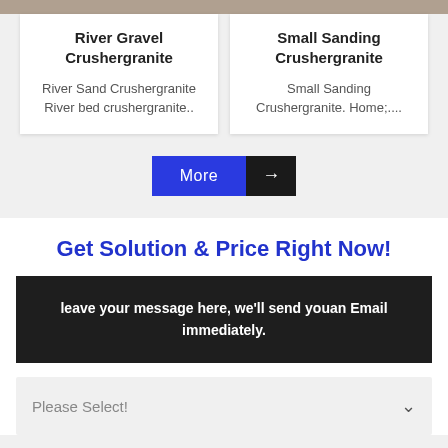[Figure (photo): Two product image thumbnails side by side - left is River Gravel Crushergranite, right is Small Sanding Crushergranite]
River Gravel Crushergranite
River Sand Crushergranite River bed crushergranite..
Small Sanding Crushergranite
Small Sanding Crushergranite. Home;....
[Figure (other): More button with blue background and black arrow button on the right]
Get Solution & Price Right Now!
leave your message here, we'll send youan Email immediately.
Please Select!